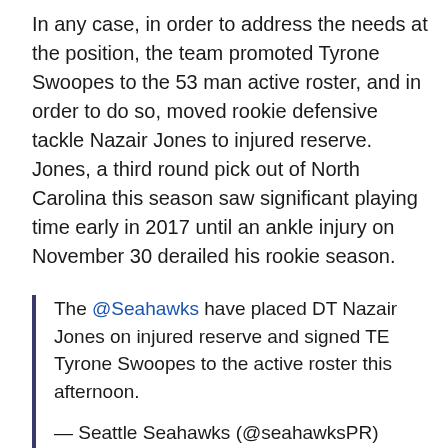In any case, in order to address the needs at the position, the team promoted Tyrone Swoopes to the 53 man active roster, and in order to do so, moved rookie defensive tackle Nazair Jones to injured reserve. Jones, a third round pick out of North Carolina this season saw significant playing time early in 2017 until an ankle injury on November 30 derailed his rookie season.
The @Seahawks have placed DT Nazair Jones on injured reserve and signed TE Tyrone Swoopes to the active roster this afternoon.

— Seattle Seahawks (@seahawksPR) December 30, 2017